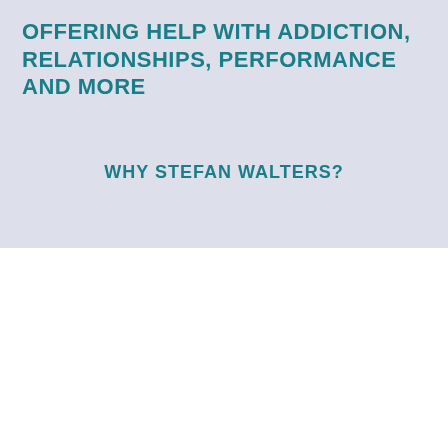OFFERING HELP WITH ADDICTION, RELATIONSHIPS, PERFORMANCE AND MORE
WHY STEFAN WALTERS?
We use cookies on our website to give you the most relevant experience by remembering your preferences and repeat visits. By clicking “Accept All”, you consent to the use of ALL the cookies. However, you may visit "Cookie Settings" to provide a controlled consent.
Cookie Settings | Accept All